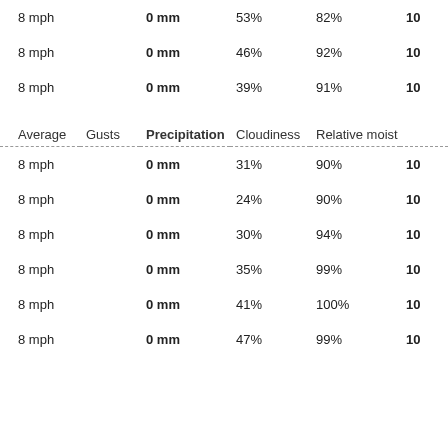| Average | Gusts | Precipitation | Cloudiness | Relative moist |  |
| --- | --- | --- | --- | --- | --- |
| 8 mph |  | 0 mm | 53% | 82% | 10 |
| 8 mph |  | 0 mm | 46% | 92% | 10 |
| 8 mph |  | 0 mm | 39% | 91% | 10 |
| Average | Gusts | Precipitation | Cloudiness | Relative moist |  |
| 8 mph |  | 0 mm | 31% | 90% | 10 |
| 8 mph |  | 0 mm | 24% | 90% | 10 |
| 8 mph |  | 0 mm | 30% | 94% | 10 |
| 8 mph |  | 0 mm | 35% | 99% | 10 |
| 8 mph |  | 0 mm | 41% | 100% | 10 |
| 8 mph |  | 0 mm | 47% | 99% | 10 |